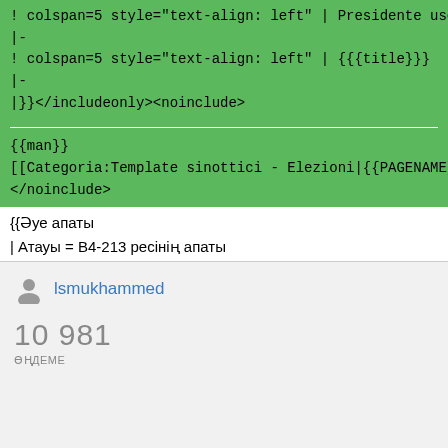! colspan=5 style="text-align: left" | Presidente uscente
|-
! colspan=5 style="text-align: left" | {{{title}}}
|-
|}}</includeonly><noinclude>
{{man}}
[[Categoria:Template sinottici - Elezioni|{{PAGENAME}}]]
</noinclude>
{{Әуе апаты
| Атауы = B4-213 ресінің апаты
lsmukhammed
10 981
ӨҢДЕМЕ